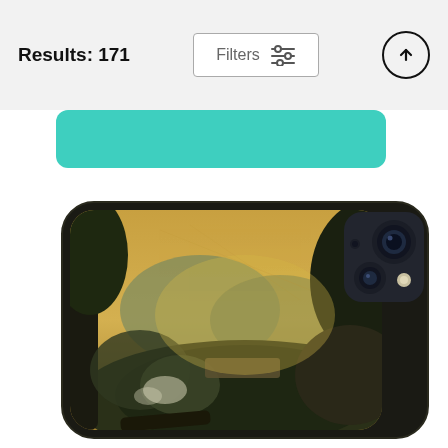Results: 171
[Figure (screenshot): Filters button with sliders icon in a bordered rectangle, and an up-arrow circle button on the right side of the header]
[Figure (photo): A phone case featuring a classical landscape painting with trees, mountains, and golden sky, shown on an iPhone with dual cameras visible at top right]
[Figure (other): Teal/turquoise rounded rectangle bar below the header]